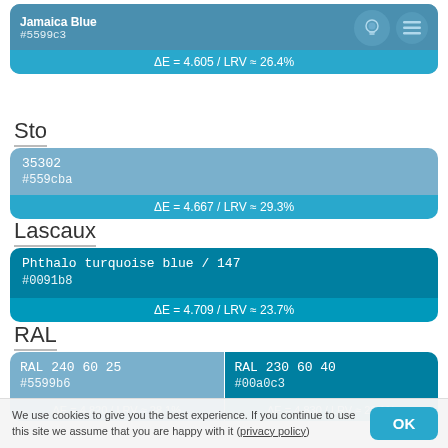[Figure (infographic): Jamaica Blue color card with bulb icon, hex #5599c3, ΔE = 4.605 / LRV ≈ 26.4%]
Sto
[Figure (infographic): Sto color card 35302, hex #559cba, ΔE = 4.667 / LRV ≈ 29.3%]
Lascaux
[Figure (infographic): Lascaux color card Phthalo turquoise blue / 147, hex #0091b8, ΔE = 4.709 / LRV ≈ 23.7%]
RAL
[Figure (infographic): RAL split card: RAL 240 60 25 #5599b6 ΔE=4.820/LRV≈28.1% and RAL 230 60 40 #00a0c3 ΔE=4.830/LRV≈29.1%]
We use cookies to give you the best experience. If you continue to use this site we assume that you are happy with it (privacy policy)